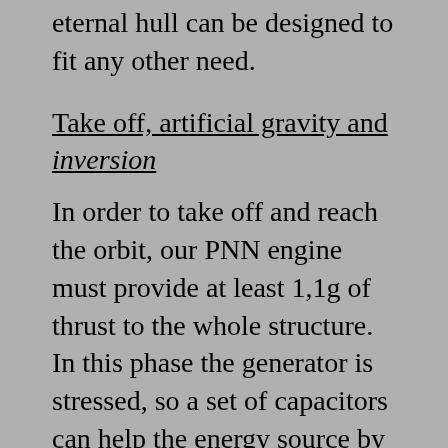eternal hull can be designed to fit any other need.
Take off, artificial gravity and inversion
In order to take off and reach the orbit, our PNN engine must provide at least 1,1g of thrust to the whole structure. In this phase the generator is stressed, so a set of capacitors can help the energy source by discharging themselves and providing extra power.
Once in flight (the cylinder maintains the vertical position), the ship comfortably accelerates at 1g, leaving the atmosphere and then the orbit. As long as the ship accelerate,